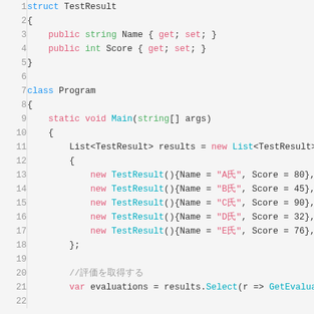[Figure (screenshot): C# source code listing showing struct TestResult and class Program with Main method initializing a List of TestResult objects and a LINQ Select query. Lines 1-22 visible.]